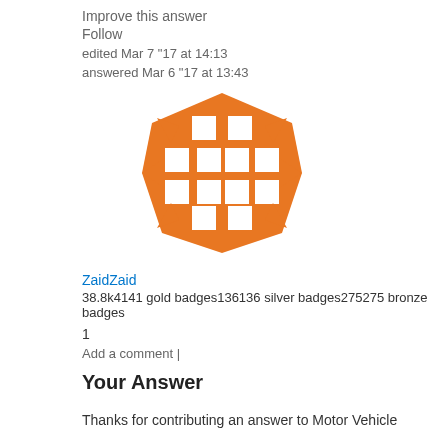Improve this answer
Follow
edited Mar 7 "17 at 14:13
answered Mar 6 "17 at 13:43
[Figure (logo): Stack Overflow user avatar — orange waffle/grid pattern logo]
ZaidZaid
38.8k4141 gold badges136136 silver badges275275 bronze badges
1
Add a comment |
Your Answer
Thanks for contributing an answer to Motor Vehicle